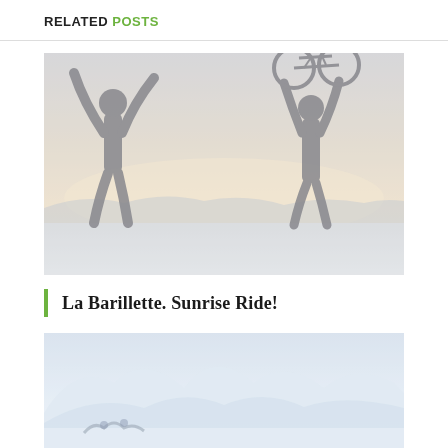RELATED POSTS
[Figure (photo): Two silhouetted cyclists celebrating with arms raised, one holding a bicycle overhead, against a warm sunset sky with mountains in the background]
La Barillette. Sunrise Ride!
[Figure (photo): Snowy mountain landscape with cyclists or bikers visible in the lower portion, light blue-white color tones]